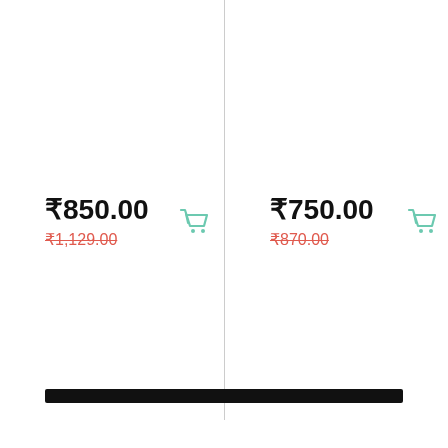₹850.00
₹1,129.00
[Figure (illustration): Shopping cart icon in teal/mint color, left product]
₹750.00
₹870.00
[Figure (illustration): Shopping cart icon in teal/mint color, right product]